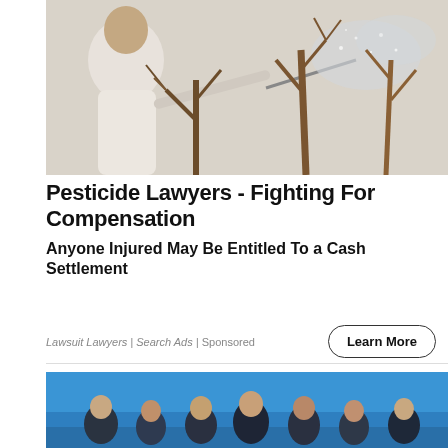[Figure (photo): Person spraying pesticide on bare tree branches with a hose, viewed from behind, wearing a white shirt. Scene is misty/foggy with brownish leafless trees.]
Pesticide Lawyers - Fighting For Compensation
Anyone Injured May Be Entitled To a Cash Settlement
Lawsuit Lawyers | Search Ads | Sponsored
Learn More
[Figure (photo): Group of professionals (lawyers/legal team) standing outdoors under a bright blue sky, smiling at camera. Approximately 6-7 people.]